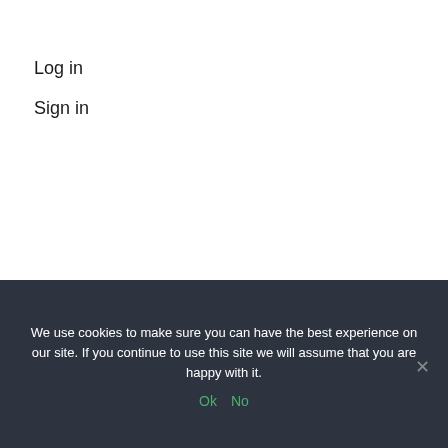Log in
Sign in
We use cookies to make sure you can have the best experience on our site. If you continue to use this site we will assume that you are happy with it.
Ok  No